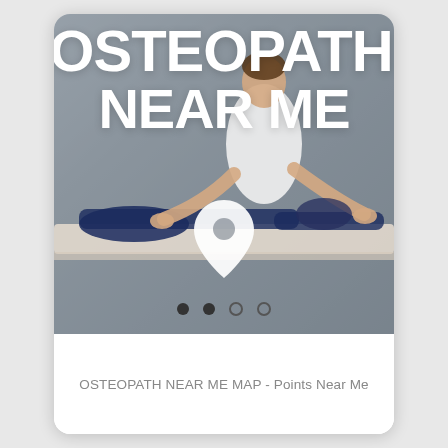[Figure (photo): A medical card-style image showing an osteopath treating a patient lying on a treatment table. Large bold white text 'OSTEOPATH NEAR ME' overlays the image along with a white map pin icon. Carousel dots appear at the bottom of the image.]
OSTEOPATH NEAR ME MAP - Points Near Me